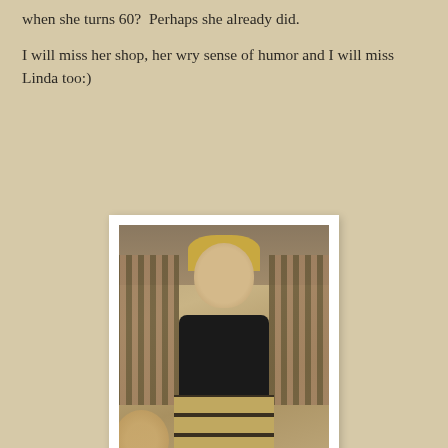when she turns 60?  Perhaps she already did.
I will miss her shop, her wry sense of humor and I will miss Linda too:)
[Figure (photo): Vintage sepia-tone photograph of a young girl with blond bangs wearing a black t-shirt and plaid skirt, sitting with hands in lap. An adult in a plaid shirt is partially visible behind her.]